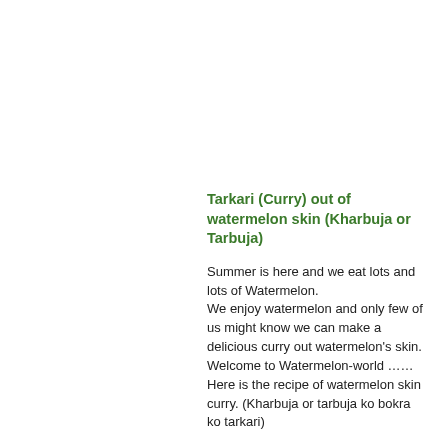Tarkari (Curry) out of watermelon skin (Kharbuja or Tarbuja)
Summer is here and we eat lots and lots of Watermelon.
We enjoy watermelon and only few of us might know we can make a delicious curry out watermelon's skin. Welcome to Watermelon-world ……
Here is the recipe of watermelon skin curry. (Kharbuja or tarbuja ko bokra ko tarkari)
Utensils
Big bowl
Vegetable Peeler